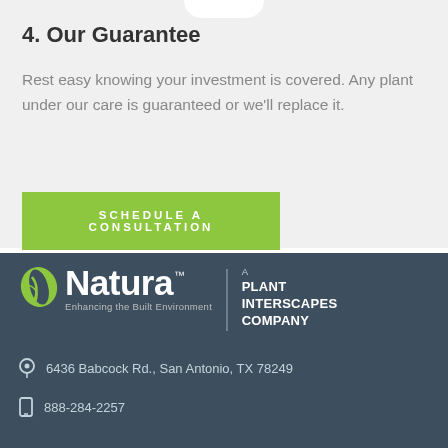4. Our Guarantee
Rest easy knowing your investment is covered. Any plant under our care is guaranteed or we'll replace it.
[Figure (other): Green CTA button reading SCHEDULE A CONSULTATION]
[Figure (logo): Natura logo with leaf icon, tagline 'Enhancing the Built Environment', and 'A Plant Interscapes Company' text on dark blue-grey background]
6436 Babcock Rd., San Antonio, TX 78249
888-284-2257